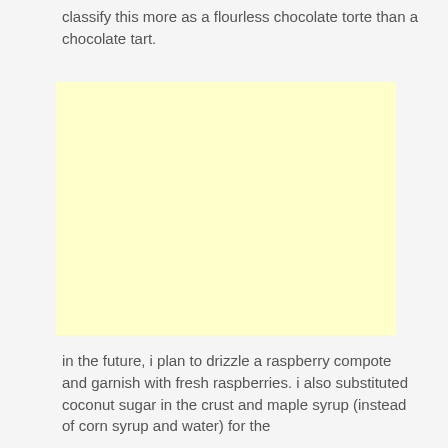classify this more as a flourless chocolate torte than a chocolate tart.
[Figure (photo): A light yellow/cream colored rectangular placeholder image]
in the future, i plan to drizzle a raspberry compote and garnish with fresh raspberries. i also substituted coconut sugar in the crust and maple syrup (instead of corn syrup and water) for the